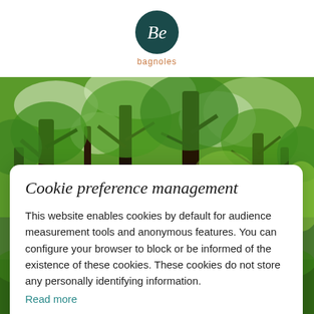[Figure (logo): Bagnoles logo: circular dark teal badge with cursive 'Be' lettering in white, and 'bagnoles' text in brown/orange below]
[Figure (photo): Lush green forest with tall trees and dense green foliage, bright natural lighting]
Cookie preference management
This website enables cookies by default for audience measurement tools and anonymous features. You can configure your browser to block or be informed of the existence of these cookies. These cookies do not store any personally identifying information.
Read more
I choose
Ok for me